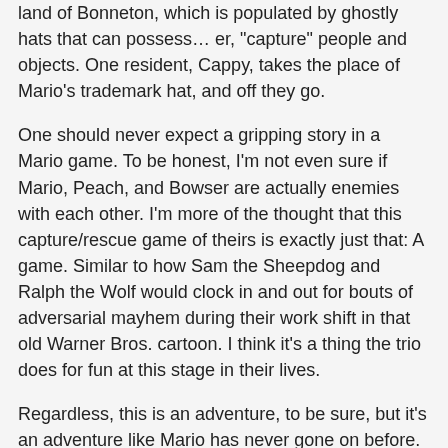land of Bonneton, which is populated by ghostly hats that can possess… er, "capture" people and objects. One resident, Cappy, takes the place of Mario's trademark hat, and off they go.
One should never expect a gripping story in a Mario game. To be honest, I'm not even sure if Mario, Peach, and Bowser are actually enemies with each other. I'm more of the thought that this capture/rescue game of theirs is exactly just that: A game. Similar to how Sam the Sheepdog and Ralph the Wolf would clock in and out for bouts of adversarial mayhem during their work shift in that old Warner Bros. cartoon. I think it's a thing the trio does for fun at this stage in their lives.
Regardless, this is an adventure, to be sure, but it's an adventure like Mario has never gone on before. This is an honest to goodness travel the world, take a vacation and make some memories sort of outing. This may be the true definition of a Super Mario World. Mario and Cappy travel the globe, take in new cultures and lands, buy souvenirs, and do whatever they want to. It's mixing Mario with Disney's It's A Small World, and it works.
As with the latest Zelda, Nintendo has experimented with the power of "Yes". Never before have players had the sheer amount of choice in a Mario game like they do here. Gone are level structures, high scores, timers, and "Game Overs". The removal of